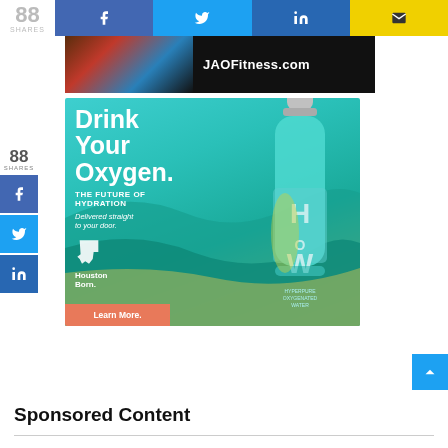[Figure (screenshot): Top social share bar with share count 88 and Facebook, Twitter, LinkedIn, Email buttons]
[Figure (photo): Top banner advertisement for JAOFitness.com showing people working out]
[Figure (infographic): HOW water advertisement: 'Drink Your Oxygen. THE FUTURE OF HYDRATION. Delivered straight to your door. Houston Born. Learn More.' with teal water bottle]
[Figure (screenshot): Left side share widget showing 88 SHARES with Facebook, Twitter, LinkedIn icons]
[Figure (screenshot): Back to top button (blue with up arrow)]
Sponsored Content